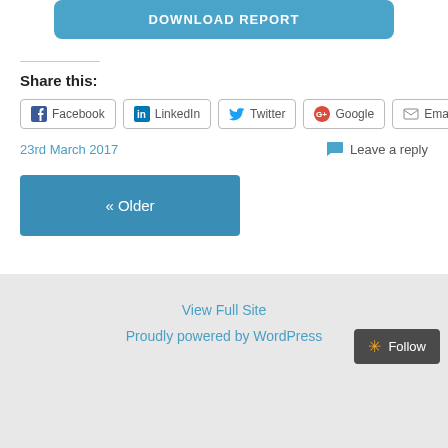[Figure (other): Download Report button (blue rounded rectangle)]
Share this:
[Figure (other): Social sharing buttons: Facebook, LinkedIn, Twitter, Google, Email]
23rd March 2017
Leave a reply
[Figure (other): « Older navigation button (blue rectangle)]
View Full Site
Proudly powered by WordPress